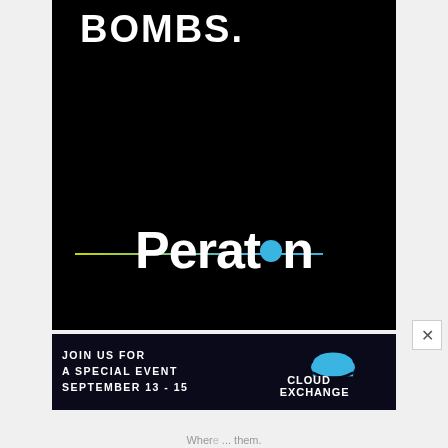[Figure (advertisement): Peraton advertisement with black background showing 'BOMBS.' text in bold white letters at top, and the Peraton logo (white text with teal/green accent line and teal dot) at the bottom of the ad.]
[Figure (advertisement): Cloud Exchange banner advertisement with dark background. Left side reads 'JOIN US FOR A SPECIAL EVENT SEPTEMBER 13 - 15' in white bold uppercase text. Right side shows 'CLOUD EXCHANGE' logo with cloud graphic.]
Where ... them.